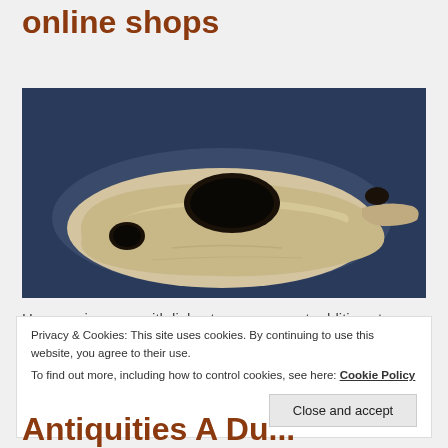online shops
[Figure (photo): Close-up photograph of an ancient clay oil lamp on a dark blue background. The lamp is beige/cream colored with a round body, a small hole on the side and a larger oval opening on top.]
Here are images, with links, to some recent additions to our Etsy and eBay online stores. Links will open in a new window or tab.
Privacy & Cookies: This site uses cookies. By continuing to use this website, you agree to their use.
To find out more, including how to control cookies, see here: Cookie Policy
Close and accept
Antiquities A Pu...